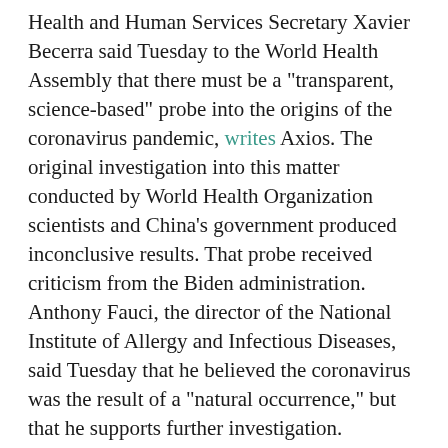Health and Human Services Secretary Xavier Becerra said Tuesday to the World Health Assembly that there must be a "transparent, science-based" probe into the origins of the coronavirus pandemic, writes Axios. The original investigation into this matter conducted by World Health Organization scientists and China's government produced inconclusive results. That probe received criticism from the Biden administration. Anthony Fauci, the director of the National Institute of Allergy and Infectious Diseases, said Tuesday that he believed the coronavirus was the result of a "natural occurrence," but that he supports further investigation. President Biden said Wednesday that he has "now asked the Intelligence Community to redouble their efforts to collect and analyze information that could bring us closer to a definitive conclusion, and to report back...in 90 days."
A Dutch court ruled that oil giant Royal Dutch Shell